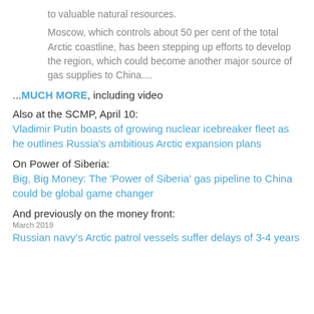to valuable natural resources.
Moscow, which controls about 50 per cent of the total Arctic coastline, has been stepping up efforts to develop the region, which could become another major source of gas supplies to China....
...MUCH MORE, including video
Also at the SCMP, April 10:
Vladimir Putin boasts of growing nuclear icebreaker fleet as he outlines Russia's ambitious Arctic expansion plans
On Power of Siberia:
Big, Big Money: The 'Power of Siberia' gas pipeline to China could be global game changer
And previously on the money front:
March 2019
Russian navy's Arctic patrol vessels suffer delays of 3-4 years